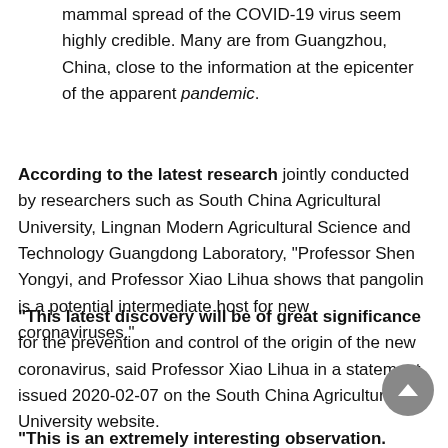The scientists who insist on this theory of the mammal spread of the COVID-19 virus seem highly credible.  Many are from Guangzhou, China, close to the information at the epicenter of the apparent pandemic.
According to the latest research jointly conducted by researchers such as South China Agricultural University, Lingnan Modern Agricultural Science and Technology Guangdong Laboratory, “Professor Shen Yongyi, and Professor Xiao Lihua shows that pangolin is a potential intermediate host for new coronaviruses.”
“This latest discovery will be of great significance for the prevention and control of the origin of the new coronavirus, said Professor Xiao Lihua in a statement issued 2020-02-07 on the South China Agricultural University website.
“This is an extremely interesting observation. Although